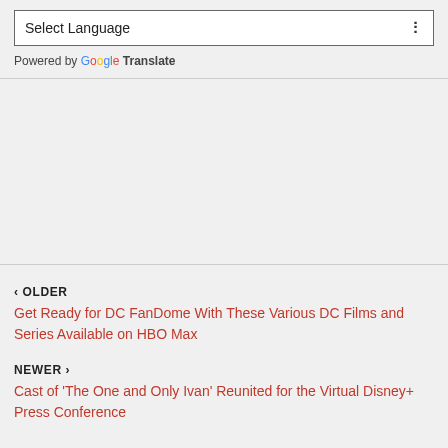Select Language (dropdown)
Powered by Google Translate
‹ OLDER
Get Ready for DC FanDome With These Various DC Films and Series Available on HBO Max
NEWER ›
Cast of 'The One and Only Ivan' Reunited for the Virtual Disney+ Press Conference